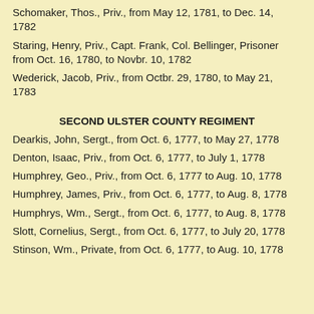Schomaker, Thos., Priv., from May 12, 1781, to Dec. 14, 1782
Staring, Henry, Priv., Capt. Frank, Col. Bellinger, Prisoner from Oct. 16, 1780, to Novbr. 10, 1782
Wederick, Jacob, Priv., from Octbr. 29, 1780, to May 21, 1783
SECOND ULSTER COUNTY REGIMENT
Dearkis, John, Sergt., from Oct. 6, 1777, to May 27, 1778
Denton, Isaac, Priv., from Oct. 6, 1777, to July 1, 1778
Humphrey, Geo., Priv., from Oct. 6, 1777 to Aug. 10, 1778
Humphrey, James, Priv., from Oct. 6, 1777, to Aug. 8, 1778
Humphrys, Wm., Sergt., from Oct. 6, 1777, to Aug. 8, 1778
Slott, Cornelius, Sergt., from Oct. 6, 1777, to July 20, 1778
Stinson, Wm., Private, from Oct. 6, 1777, to Aug. 10, 1778